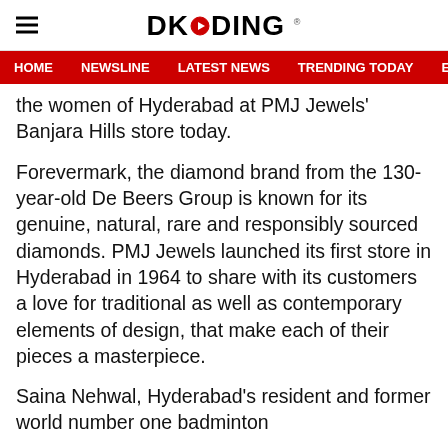DKODING
HOME  NEWSLINE  LATEST NEWS  TRENDING TODAY  ENT
the women of Hyderabad at PMJ Jewels' Banjara Hills store today.
Forevermark, the diamond brand from the 130-year-old De Beers Group is known for its genuine, natural, rare and responsibly sourced diamonds. PMJ Jewels launched its first store in Hyderabad in 1964 to share with its customers a love for traditional as well as contemporary elements of design, that make each of their pieces a masterpiece.
Saina Nehwal, Hyderabad's resident and former world number one badminton